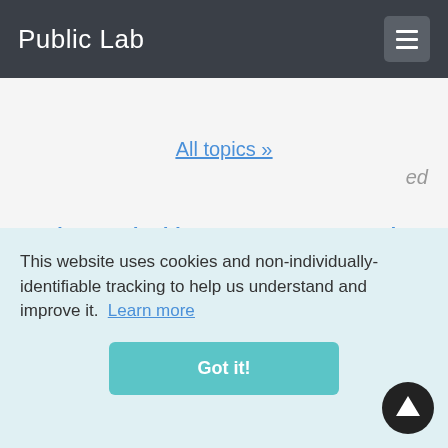Public Lab
All topics »
Help sustain this resource & community: the Public Lab nonprofit works to maintain this space for community knowledge and dialogue. Contribute to keep us going with
This website uses cookies and non-individually-identifiable tracking to help us understand and improve it. Learn more
Got it!